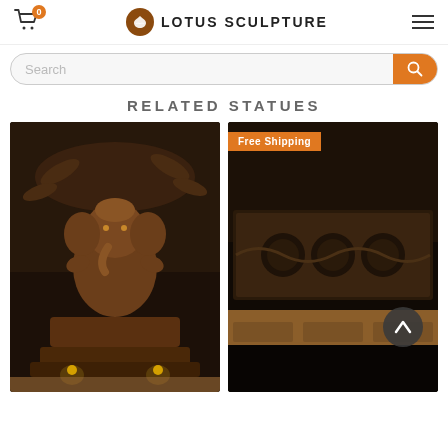Lotus Sculpture — cart 0
Search
RELATED STATUES
[Figure (photo): Bronze Ganesha statue with birds and floral canopy, seated on ornate pedestal with offerings]
[Figure (photo): Dark wood carved panel with intricate relief sculpture, displayed on wooden base with Free Shipping badge]